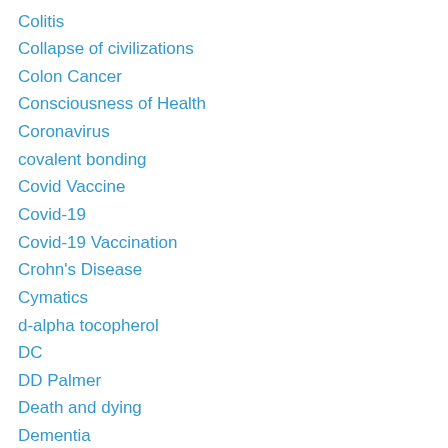Colitis
Collapse of civilizations
Colon Cancer
Consciousness of Health
Coronavirus
covalent bonding
Covid Vaccine
Covid-19
Covid-19 Vaccination
Crohn's Disease
Cymatics
d-alpha tocopherol
DC
DD Palmer
Death and dying
Dementia
Depression
Detoxification Program
Diabetes
Diet drinks